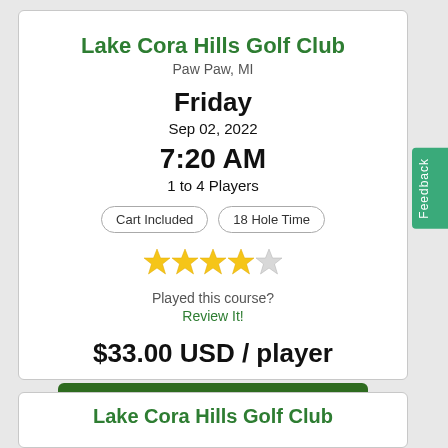Lake Cora Hills Golf Club
Paw Paw, MI
Friday
Sep 02, 2022
7:20 AM
1 to 4 Players
Cart Included
18 Hole Time
[Figure (other): 4 out of 5 star rating shown as yellow stars]
Played this course?
Review It!
$33.00 USD / player
Book Now
Lake Cora Hills Golf Club